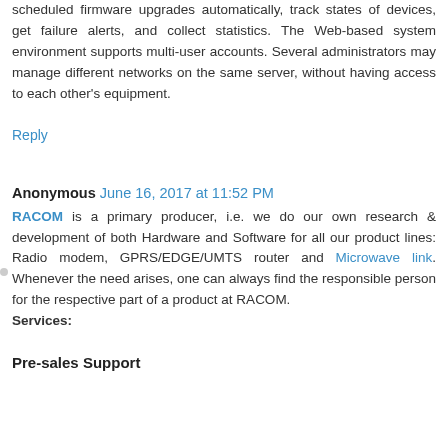scheduled firmware upgrades automatically, track states of devices, get failure alerts, and collect statistics. The Web-based system environment supports multi-user accounts. Several administrators may manage different networks on the same server, without having access to each other's equipment.
Reply
Anonymous  June 16, 2017 at 11:52 PM
RACOM is a primary producer, i.e. we do our own research & development of both Hardware and Software for all our product lines: Radio modem, GPRS/EDGE/UMTS router and Microwave link. Whenever the need arises, one can always find the responsible person for the respective part of a product at RACOM. Services:
Pre-sales Support